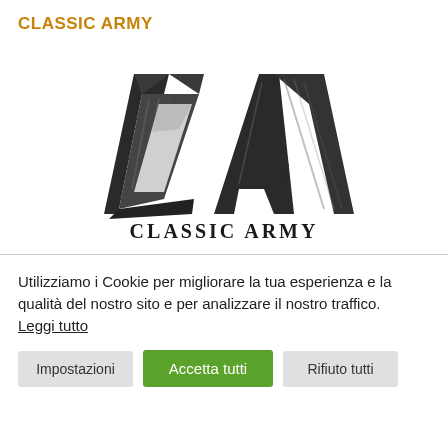CLASSIC ARMY
[Figure (logo): Classic Army logo — stylized 'CA' letters in metallic dark steel design above the text 'CLASSIC ARMY' in bold serif capitals]
Utilizziamo i Cookie per migliorare la tua esperienza e la qualità del nostro sito e per analizzare il nostro traffico. Leggi tutto
Impostazioni
Accetta tutti
Rifiuto tutti